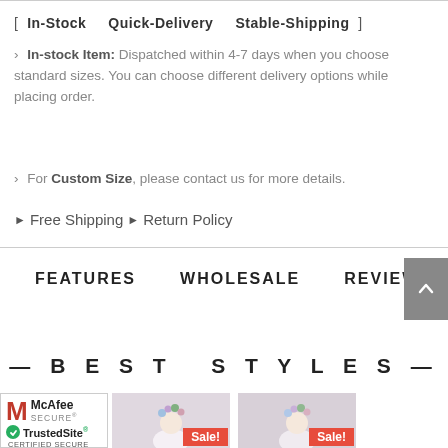[ In-Stock   Quick-Delivery   Stable-Shipping ]
> In-stock Item: Dispatched within 4-7 days when you choose standard sizes. You can choose different delivery options while placing order.
> For Custom Size, please contact us for more details.
▶ Free Shipping ▶ Return Policy
FEATURES   WHOLESALE   REVIEWS
— BEST STYLES —
[Figure (logo): McAfee Secure and TrustedSite Certified Secure badge]
[Figure (photo): Product photo with Sale! badge - woman with floral headpiece]
[Figure (photo): Product photo with Sale! badge - woman with floral headpiece]